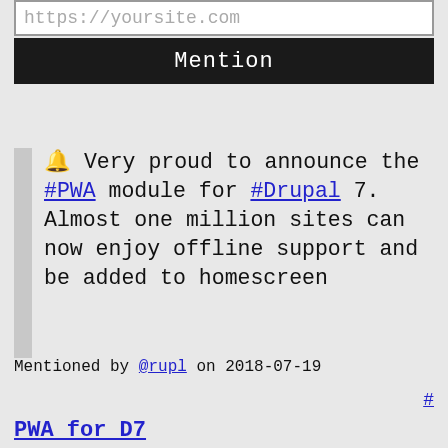https://yoursite.com
Mention
🔔 Very proud to announce the #PWA module for #Drupal 7. Almost one million sites can now enjoy offline support and be added to homescreen
Mentioned by @rupl on 2018-07-19 #
PWA for D7